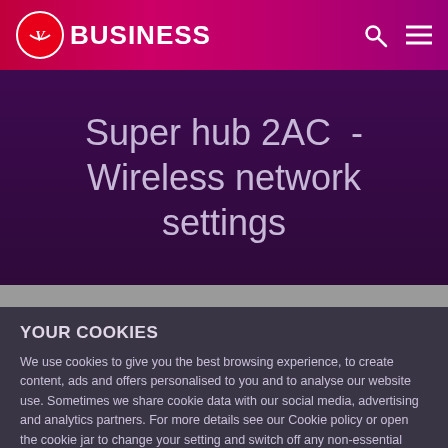Virgin Media Business
Super hub 2AC - Wireless network settings
YOUR COOKIES
We use cookies to give you the best browsing experience, to create content, ads and offers personalised to you and to analyse our website use. Sometimes we share cookie data with our social media, advertising and analytics partners. For more details see our Cookie policy or open the cookie jar to change your setting and switch off any non-essential cookies. Cookie Policy